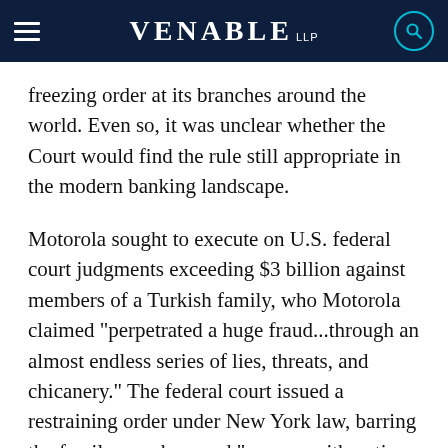VENABLE LLP
freezing order at its branches around the world. Even so, it was unclear whether the Court would find the rule still appropriate in the modern banking landscape.
Motorola sought to execute on U.S. federal court judgments exceeding $3 billion against members of a Turkish family, who Motorola claimed "perpetrated a huge fraud...through an almost endless series of lies, threats, and chicanery." The federal court issued a restraining order under New York law, barring the family members and "anyone with notice of